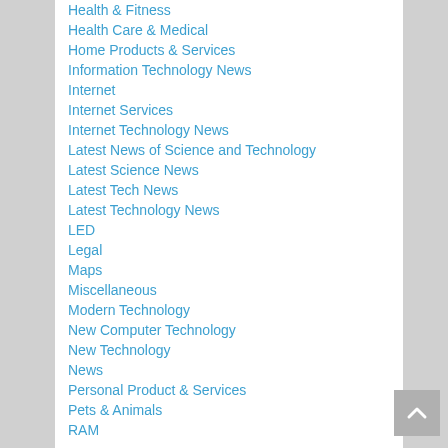Health & Fitness
Health Care & Medical
Home Products & Services
Information Technology News
Internet
Internet Services
Internet Technology News
Latest News of Science and Technology
Latest Science News
Latest Tech News
Latest Technology News
LED
Legal
Maps
Miscellaneous
Modern Technology
New Computer Technology
New Technology
News
Personal Product & Services
Pets & Animals
RAM